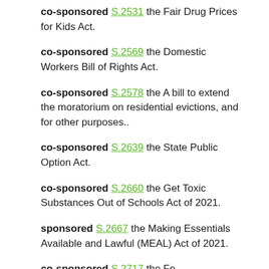co-sponsored S.2531 the Fair Drug Prices for Kids Act.
co-sponsored S.2569 the Domestic Workers Bill of Rights Act.
co-sponsored S.2578 the A bill to extend the moratorium on residential evictions, and for other purposes..
co-sponsored S.2639 the State Public Option Act.
co-sponsored S.2660 the Get Toxic Substances Out of Schools Act of 2021.
sponsored S.2667 the Making Essentials Available and Lawful (MEAL) Act of 2021.
co-sponsored S.2717 the ...